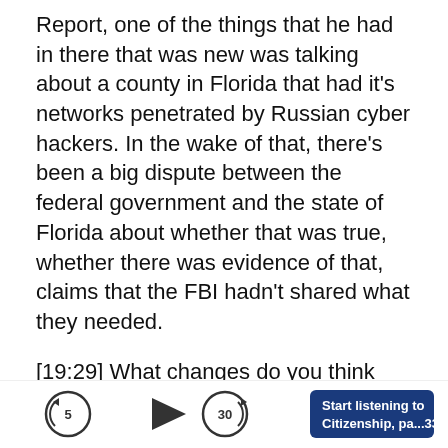Report, one of the things that he had in there that was new was talking about a county in Florida that had it's networks penetrated by Russian cyber hackers. In the wake of that, there's been a big dispute between the federal government and the state of Florida about whether that was true, whether there was evidence of that, claims that the FBI hadn't shared what they needed.
[19:29] What changes do you think we're most likely to see between now and the 2020 election?
Since 2014 we've basically seen an ongoing
[Figure (other): Audio player bar with rewind 5s, play, forward 30s buttons and a dark blue 'Start listening to Citizenship, pa...33:55' button]